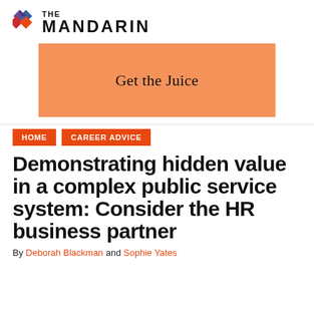THE MANDARIN
[Figure (illustration): The Mandarin logo with colourful diamond/kite shapes in purple, blue, red and orange above the text THE MANDARIN]
[Figure (infographic): Orange banner advertisement reading 'Get the Juice']
HOME   CAREER ADVICE
Demonstrating hidden value in a complex public service system: Consider the HR business partner
By Deborah Blackman and Sophie Yates